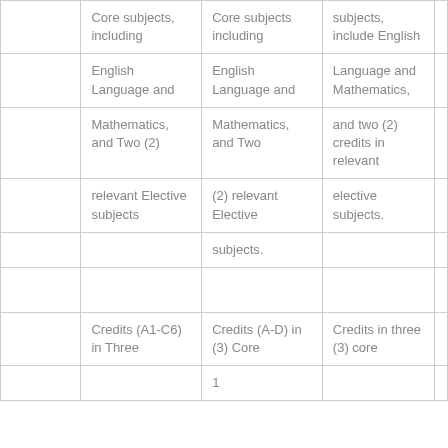|  | Core subjects, including | Core subjects including | subjects, include English |  |
|  | English Language and | English Language and | Language and Mathematics, |  |
|  | Mathematics, and Two (2) | Mathematics, and Two | and two (2) credits in relevant |  |
|  | relevant Elective subjects | (2) relevant Elective | elective subjects. |  |
|  |  | subjects. |  |  |
|  |  |  |  |  |
|  | Credits (A1-C6) in Three | Credits (A-D) in (3) Core | Credits in three (3) core |  |
|  |  | 1 |  |  |